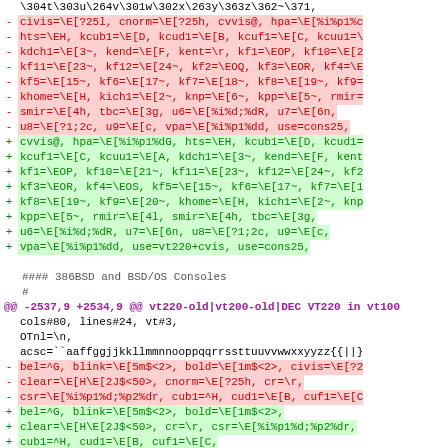diff/patch output showing terminal capabilities changes for 386BSD and BSD/OS consoles
#### 386BSD and BSD/OS Consoles
#
@@ -2537,9 +2534,9 @@ vt220-old|vt200-old|DEC VT220 in vt100
cols#80, lines#24, vt#3, OTnl=\n, acsc=``aaffggjjkkllmmnnooppqqrrssttuuvvwwxxyyzz{{||}},
diff lines showing bel, blink, bold, civis, clear, cnorm, cr, csr, cub1, cud1, cuf1 terminal capabilities